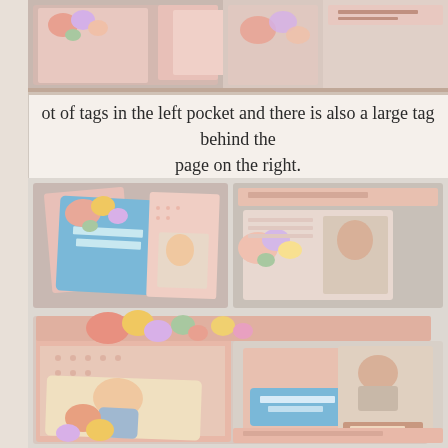[Figure (photo): Top portion of a crafted scrapbook/junk journal spread showing floral decorated pages with pink and blue elements, partially cropped at the top of the page]
ot of tags in the left pocket and there is also a large tag behind the page on the right.
[Figure (photo): A handmade scrapbook/junk journal spread open showing vintage-style decorated pages with pink floral patterns, tags, and embellishments. Left side shows 'Precious Memories' label with blue and pink cards/tags. Right side shows a wedding couple cutout with 'Welcome' label on pink dotted paper. Top portion shows another open spread with vintage portrait photos.]